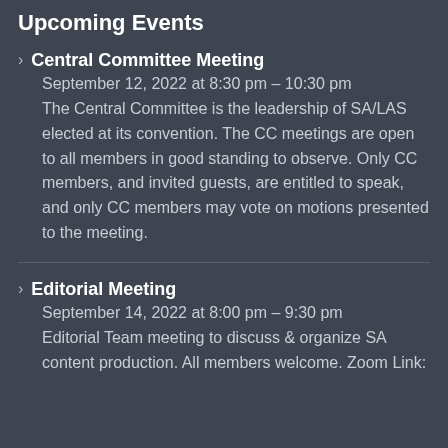Upcoming Events
Central Committee Meeting
September 12, 2022 at 8:30 pm – 10:30 pm
The Central Committee is the leadership of SA/LAS elected at its convention. The CC meetings are open to all members in good standing to observe. Only CC members, and invited guests, are entitled to speak, and only CC members may vote on motions presented to the meeting.
Editorial Meeting
September 14, 2022 at 8:00 pm – 9:30 pm
Editorial Team meeting to discuss & organize SA content production. All members welcome. Zoom Link: